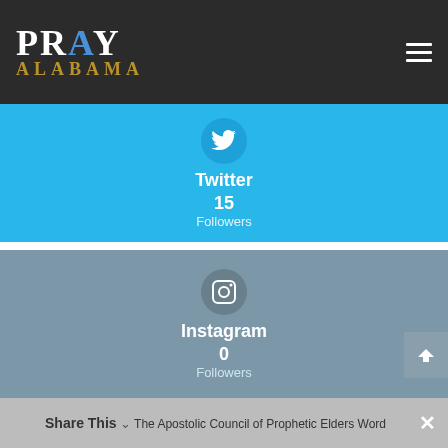PRAY ALABAMA
[Figure (infographic): Twitter social media widget showing Twitter bird icon, 'Twitter' label, 15 Followers count on a blue background]
[Figure (infographic): Instagram social media widget showing camera icon, 'Instagram' label, 0 Followers count on a steel-blue/grey background]
Recent Posts
Share This   The Apostolic Council of Prophetic Elders Word